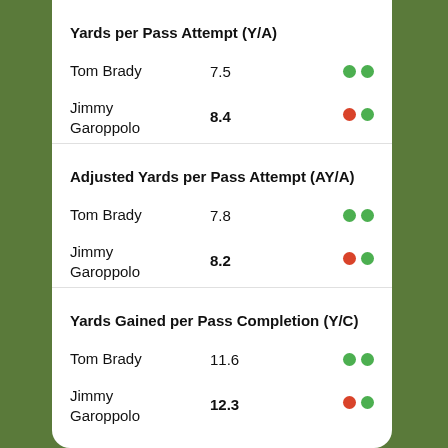Yards per Pass Attempt (Y/A)
Tom Brady 7.5
Jimmy Garoppolo 8.4
Adjusted Yards per Pass Attempt (AY/A)
Tom Brady 7.8
Jimmy Garoppolo 8.2
Yards Gained per Pass Completion (Y/C)
Tom Brady 11.6
Jimmy Garoppolo 12.3